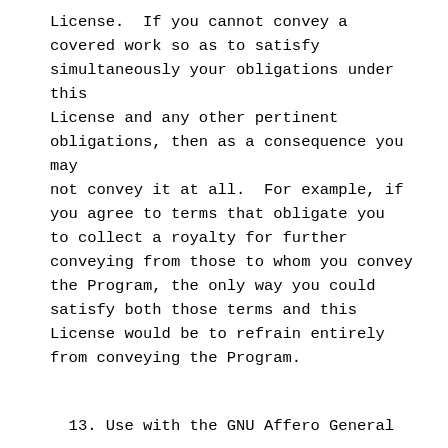License.  If you cannot convey a covered work so as to satisfy simultaneously your obligations under this
License and any other pertinent obligations, then as a consequence you may
not convey it at all.  For example, if you agree to terms that obligate you to collect a royalty for further conveying from those to whom you convey the Program, the only way you could satisfy both those terms and this License would be to refrain entirely from conveying the Program.
13. Use with the GNU Affero General